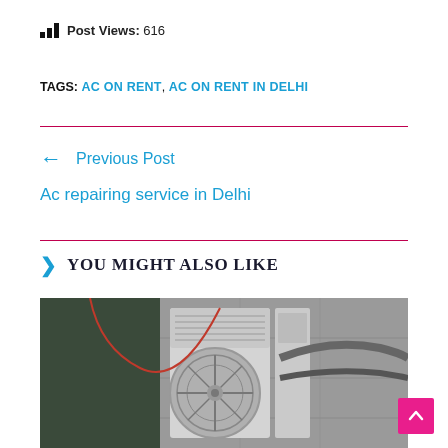Post Views: 616
TAGS: AC ON RENT, AC ON RENT IN DELHI
← Previous Post
Ac repairing service in Delhi
YOU MIGHT ALSO LIKE
[Figure (photo): Outdoor AC unit mounted on a wall, black and white photo]